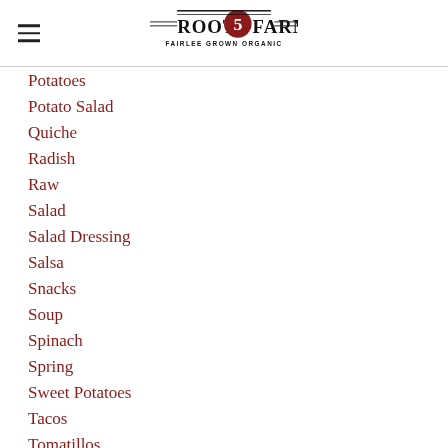Root 5 Farm — Fairlee Grown Organic
Potatoes
Potato Salad
Quiche
Radish
Raw
Salad
Salad Dressing
Salsa
Snacks
Soup
Spinach
Spring
Sweet Potatoes
Tacos
Tomatillos
Tomatoes
Vegetarian
Winter Squash (partial)